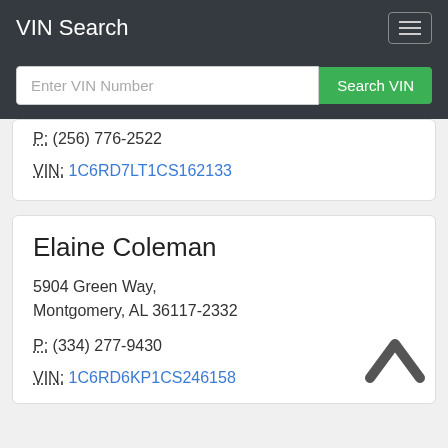VIN Search
P: (256) 776-2522
VIN: 1C6RD7LT1CS162133
Elaine Coleman
5904 Green Way, Montgomery, AL 36117-2332
P: (334) 277-9430
VIN: 1C6RD6KP1CS246158